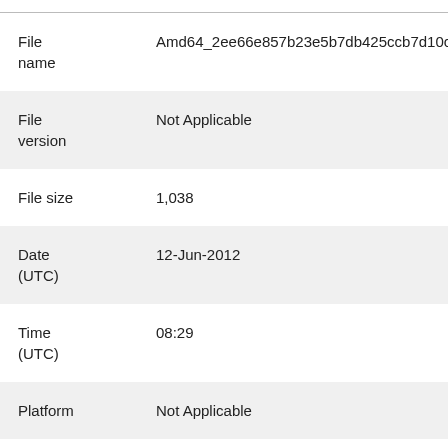| Field | Value |
| --- | --- |
| File name | Amd64_2ee66e857b23e5b7db425ccb7d10c467_31bf3... |
| File version | Not Applicable |
| File size | 1,038 |
| Date (UTC) | 12-Jun-2012 |
| Time (UTC) | 08:29 |
| Platform | Not Applicable |
| File | Amd64_343aab6fd0a31b048e5b6e65b015ef76_31bf3... |